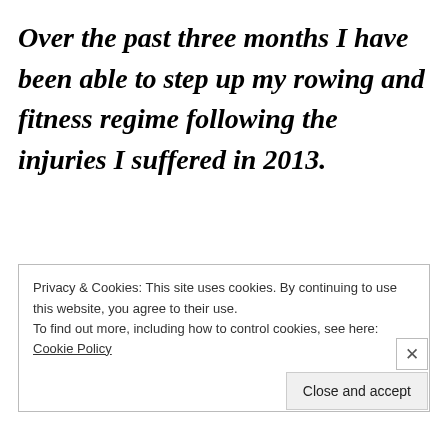Over the past three months I have been able to step up my rowing and fitness regime following the injuries I suffered in 2013.
Usually this is done up in “The Shed” and
if it isn’t silly o’clock in the morning, but
Privacy & Cookies: This site uses cookies. By continuing to use this website, you agree to their use.
To find out more, including how to control cookies, see here: Cookie Policy
Close and accept